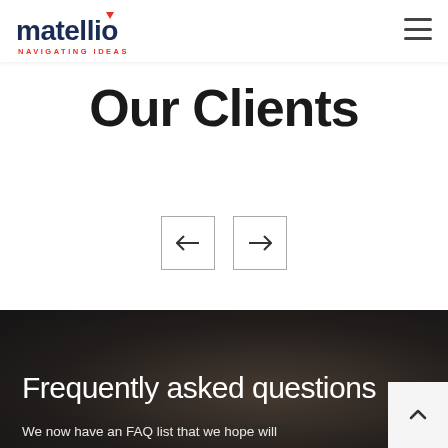matellio NAVIGATING IDEAS
Our Clients
[Figure (other): Navigation carousel arrows: left arrow button and right arrow button]
Frequently asked questions
We now have an FAQ list that we hope will